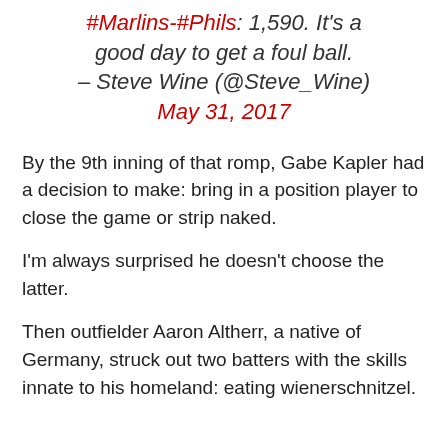#Marlins-#Phils: 1,590. It's a good day to get a foul ball. – Steve Wine (@Steve_Wine) May 31, 2017
By the 9th inning of that romp, Gabe Kapler had a decision to make: bring in a position player to close the game or strip naked.
I'm always surprised he doesn't choose the latter.
Then outfielder Aaron Altherr, a native of Germany, struck out two batters with the skills innate to his homeland: eating wienerschnitzel.